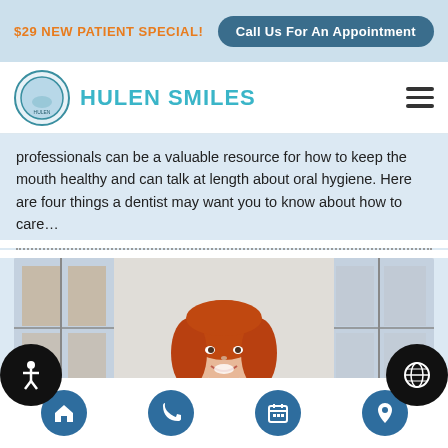$29 NEW PATIENT SPECIAL! | Call Us For An Appointment
[Figure (logo): Hulen Smiles dental practice logo with circular emblem and teal text]
professionals can be a valuable resource for how to keep the mouth healthy and can talk at length about oral hygiene. Here are four things a dentist may want you to know about how to care…
[Figure (photo): Smiling red-haired woman in white coat, seated in bright office with windows in background]